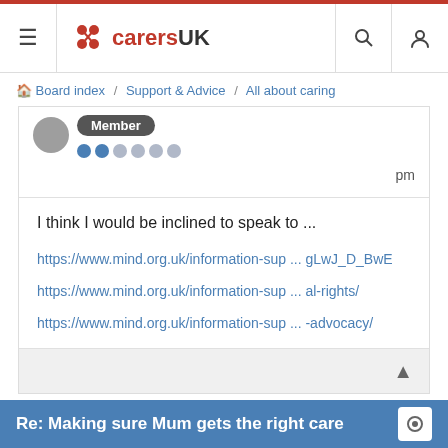CarersUK
Board index / Support & Advice / All about caring
Member
pm
I think I would be inclined to speak to ...
https://www.mind.org.uk/information-sup ... gLwJ_D_BwE
https://www.mind.org.uk/information-sup ... al-rights/
https://www.mind.org.uk/information-sup ... -advocacy/
Re: Making sure Mum gets the right care